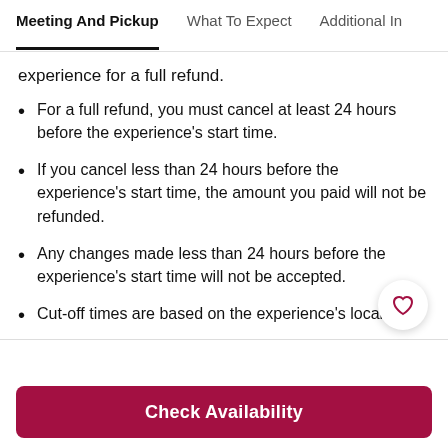Meeting And Pickup | What To Expect | Additional I...
experience for a full refund.
For a full refund, you must cancel at least 24 hours before the experience's start time.
If you cancel less than 24 hours before the experience's start time, the amount you paid will not be refunded.
Any changes made less than 24 hours before the experience's start time will not be accepted.
Cut-off times are based on the experience's local time.
Check Availability